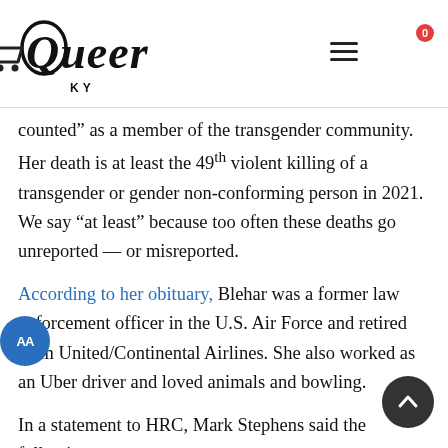Queer KY — website header with logo, hamburger menu, and cart icon
counted” as a member of the transgender community. Her death is at least the 49th violent killing of a transgender or gender non-conforming person in 2021. We say “at least” because too often these deaths go unreported — or misreported.
According to her obituary, Blehar was a former law enforcement officer in the U.S. Air Force and retired from United/Continental Airlines. She also worked as an Uber driver and loved animals and bowling.
In a statement to HRC, Mark Stephens said the following: